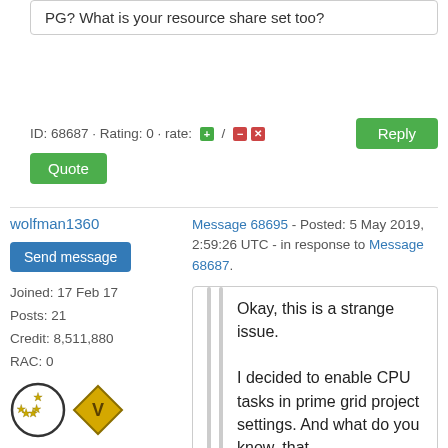PG? What is your resource share set too?
ID: 68687 · Rating: 0 · rate: [+] / [-] [x]
Reply
Quote
wolfman1360
Send message
Joined: 17 Feb 17
Posts: 21
Credit: 8,511,880
RAC: 0
Message 68695 - Posted: 5 May 2019, 2:59:26 UTC - in response to Message 68687.
Okay, this is a strange issue.

I decided to enable CPU tasks in prime grid project settings. And what do you know, that